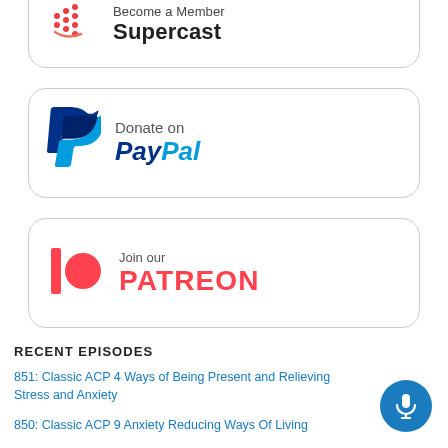[Figure (logo): Supercast 'Become a Member' button card with Supercast logo (partial, cut off at top)]
[Figure (logo): PayPal 'Donate on PayPal' button card with PayPal logo in blue]
[Figure (logo): Patreon 'Join our PATREON' button card with Patreon logo in red]
RECENT EPISODES
851: Classic ACP 4 Ways of Being Present and Relieving Stress and Anxiety
850: Classic ACP 9 Anxiety Reducing Ways Of Living